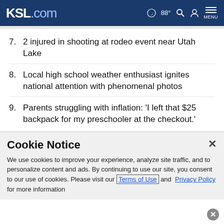KSL.com  88°  MENU
7. 2 injured in shooting at rodeo event near Utah Lake
8. Local high school weather enthusiast ignites national attention with phenomenal photos
9. Parents struggling with inflation: 'I left that $25 backpack for my preschooler at the checkout.'
Cookie Notice
We use cookies to improve your experience, analyze site traffic, and to personalize content and ads. By continuing to use our site, you consent to our use of cookies. Please visit our Terms of Use and  Privacy Policy for more information